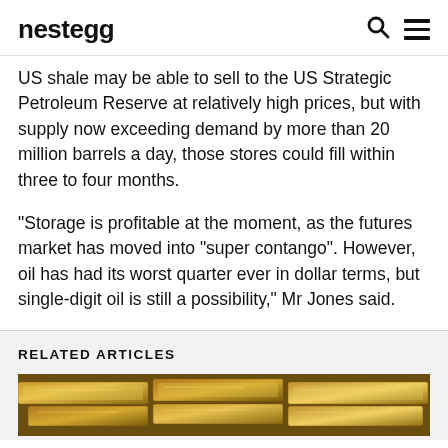nestegg
US shale may be able to sell to the US Strategic Petroleum Reserve at relatively high prices, but with supply now exceeding demand by more than 20 million barrels a day, those stores could fill within three to four months.
“Storage is profitable at the moment, as the futures market has moved into “super contango”. However, oil has had its worst quarter ever in dollar terms, but single-digit oil is still a possibility,” Mr Jones said.
RELATED ARTICLES
[Figure (photo): Photo of gold bars]